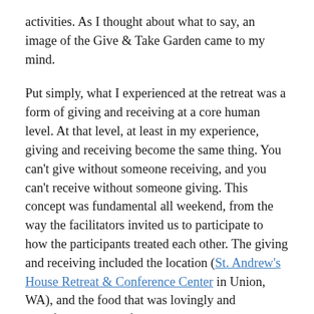activities. As I thought about what to say, an image of the Give & Take Garden came to my mind.
Put simply, what I experienced at the retreat was a form of giving and receiving at a core human level. At that level, at least in my experience, giving and receiving become the same thing. You can't give without someone receiving, and you can't receive without someone giving. This concept was fundamental all weekend, from the way the facilitators invited us to participate to how the participants treated each other. The giving and receiving included the location (St. Andrew's House Retreat & Conference Center in Union, WA), and the food that was lovingly and mindfully prepared for us.
As part of our closing ceremony, the facilitators gave us a token with the word "Courage" on it. I held mine in